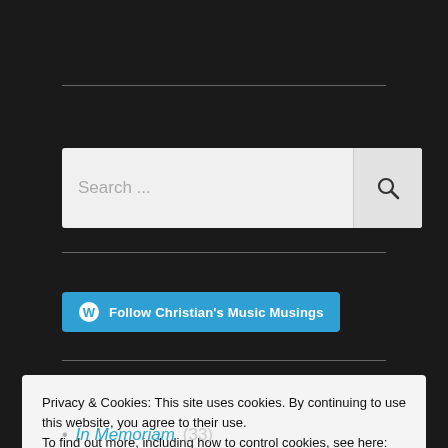[Figure (screenshot): Search input box with placeholder text 'Search ...' and a magnifying glass search button on a light gray background]
[Figure (screenshot): Blue 'Follow Christian's Music Musings' button with WordPress logo]
Privacy & Cookies: This site uses cookies. By continuing to use this website, you agree to their use.
To find out more, including how to control cookies, see here:
Cookie Policy
Close and accept
In Memoriam (33)